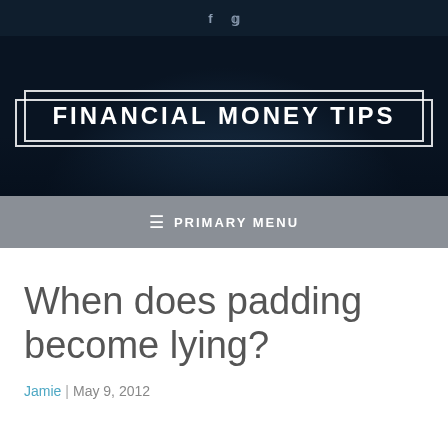f  🐦
[Figure (screenshot): Dark night sky/tree banner with white bordered box containing site title 'FINANCIAL MONEY TIPS']
≡  PRIMARY MENU
When does padding become lying?
Jamie | May 9, 2012